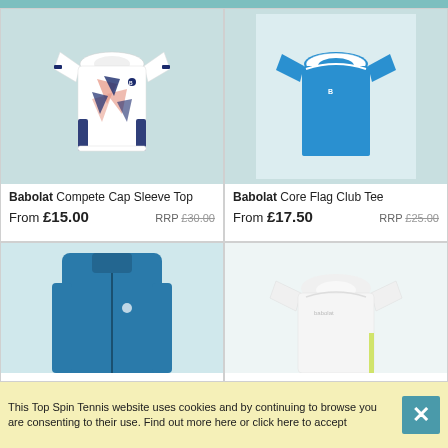[Figure (photo): Babolat Compete Cap Sleeve Top - white t-shirt with navy and pink geometric pattern]
Babolat Compete Cap Sleeve Top
From £15.00   RRP £30.00
[Figure (photo): Babolat Core Flag Club Tee - blue short sleeve t-shirt with white collar trim]
Babolat Core Flag Club Tee
From £17.50   RRP £25.00
[Figure (photo): Blue zip-up jacket, partially visible]
[Figure (photo): White t-shirt, partially visible]
This Top Spin Tennis website uses cookies and by continuing to browse you are consenting to their use. Find out more here or click here to accept